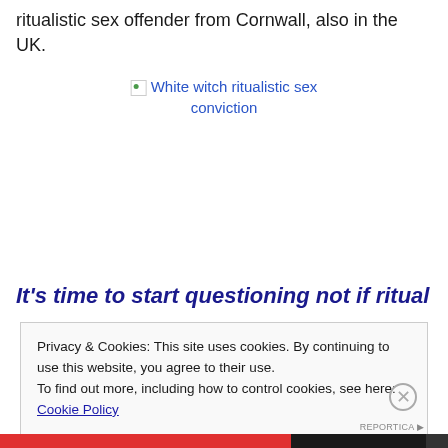ritualistic sex offender from Cornwall, also in the UK.
[Figure (other): Broken image link for 'White witch ritualistic sex conviction']
It's time to start questioning not if ritual
Privacy & Cookies: This site uses cookies. By continuing to use this website, you agree to their use.
To find out more, including how to control cookies, see here: Cookie Policy
Close and accept